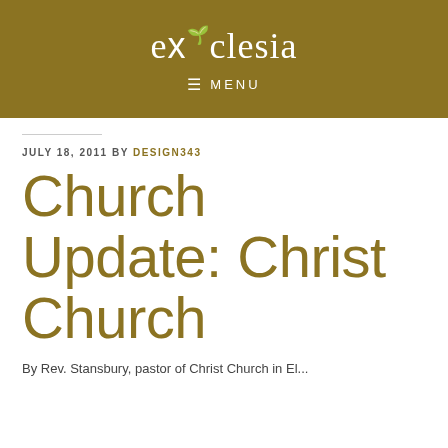ecclesia — MENU
JULY 18, 2011 BY DESIGN343
Church Update: Christ Church
By Rev. Stansbury, pastor of Christ Church in El...